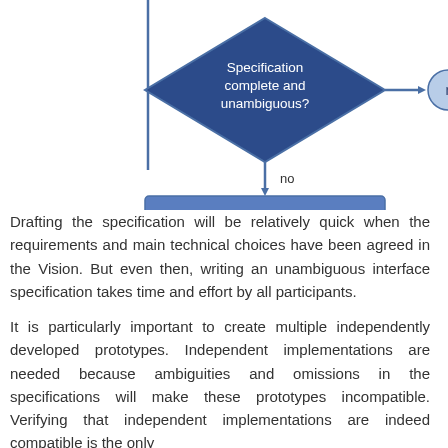[Figure (flowchart): Flowchart showing a diamond decision box 'Specification complete and unambiguous?' with an arrow to 'ready' (rounded rectangle) on the right, and a 'no' arrow going down to a rectangle '(D) Improve the specification', which connects back up on the left via a vertical line.]
Drafting the specification will be relatively quick when the requirements and main technical choices have been agreed in the Vision. But even then, writing an unambiguous interface specification takes time and effort by all participants.
It is particularly important to create multiple independently developed prototypes. Independent implementations are needed because ambiguities and omissions in the specifications will make these prototypes incompatible. Verifying that independent implementations are indeed compatible is the only